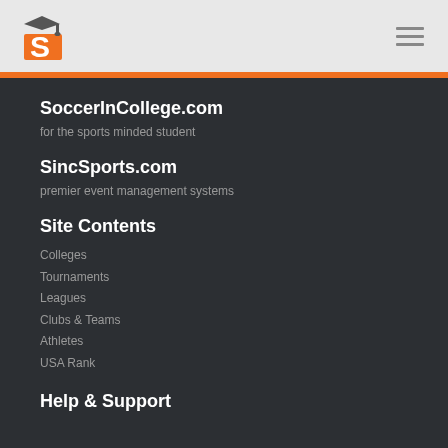SoccerInCollege.com header with logo and hamburger menu
SoccerInCollege.com
for the sports minded student
SincSports.com
premier event management systems
Site Contents
Colleges
Tournaments
Leagues
Clubs & Teams
Athletes
USA Rank
Help & Support